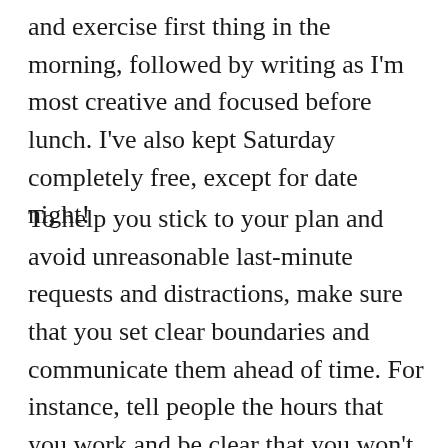and exercise first thing in the morning, followed by writing as I'm most creative and focused before lunch. I've also kept Saturday completely free, except for date night!
To help you stick to your plan and avoid unreasonable last-minute requests and distractions, make sure that you set clear boundaries and communicate them ahead of time. For instance, tell people the hours that you work and be clear that you won't respond after 6pm or on weekends; say how you prefer to be contacted—via email, by phone or on Whatsapp—and if you work from home, tell your family that a closed door means that